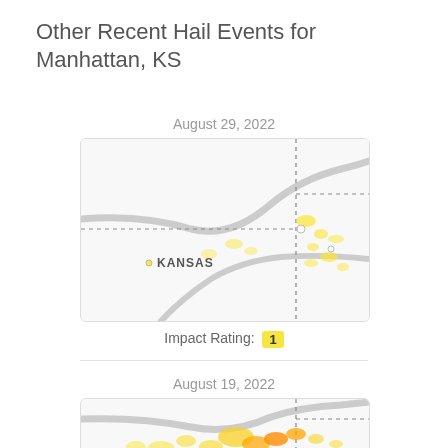Other Recent Hail Events for Manhattan, KS
August 29, 2022
[Figure (map): Map of Kansas showing hail event location near Manhattan, KS on August 29, 2022. Yellow hail markers visible on right side of map. Dotted boundary lines and gray roads visible.]
Impact Rating: 1
August 19, 2022
[Figure (map): Map of Kansas showing hail event location near Manhattan, KS on August 19, 2022. More extensive yellow/orange hail markers visible indicating higher hail activity.]